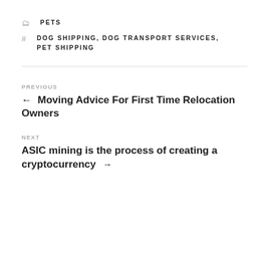PETS
DOG SHIPPING, DOG TRANSPORT SERVICES, PET SHIPPING
PREVIOUS
← Moving Advice For First Time Relocation Owners
NEXT
ASIC mining is the process of creating a cryptocurrency →